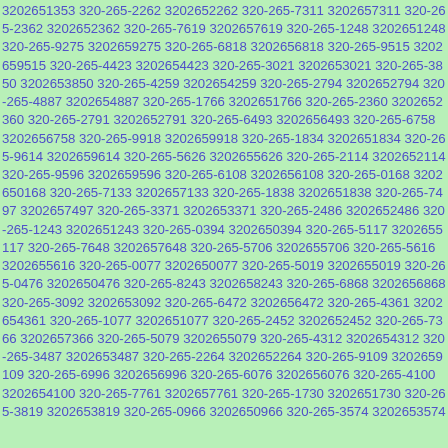3202651353 320-265-2262 3202652262 320-265-7311 3202657311 320-265-2362 3202652362 320-265-7619 3202657619 320-265-1248 3202651248 320-265-9275 3202659275 320-265-6818 3202656818 320-265-9515 3202659515 320-265-4423 3202654423 320-265-3021 3202653021 320-265-3850 3202653850 320-265-4259 3202654259 320-265-2794 3202652794 320-265-4887 3202654887 320-265-1766 3202651766 320-265-2360 3202652360 320-265-2791 3202652791 320-265-6493 3202656493 320-265-6758 3202656758 320-265-9918 3202659918 320-265-1834 3202651834 320-265-9614 3202659614 320-265-5626 3202655626 320-265-2114 3202652114 320-265-9596 3202659596 320-265-6108 3202656108 320-265-0168 3202650168 320-265-7133 3202657133 320-265-1838 3202651838 320-265-7497 3202657497 320-265-3371 3202653371 320-265-2486 3202652486 320-265-1243 3202651243 320-265-0394 3202650394 320-265-5117 3202655117 320-265-7648 3202657648 320-265-5706 3202655706 320-265-5616 3202655616 320-265-0077 3202650077 320-265-5019 3202655019 320-265-0476 3202650476 320-265-8243 3202658243 320-265-6868 3202656868 320-265-3092 3202653092 320-265-6472 3202656472 320-265-4361 3202654361 320-265-1077 3202651077 320-265-2452 3202652452 320-265-7366 3202657366 320-265-5079 3202655079 320-265-4312 3202654312 320-265-3487 3202653487 320-265-2264 3202652264 320-265-9109 3202659109 320-265-6996 3202656996 320-265-6076 3202656076 320-265-4100 3202654100 320-265-7761 3202657761 320-265-1730 3202651730 320-265-3819 3202653819 320-265-0966 3202650966 320-265-3574 3202653574